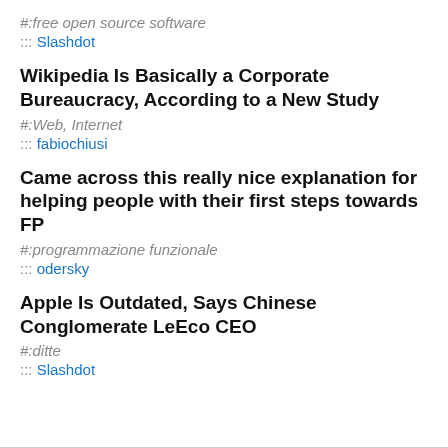#:free open source software
::: Slashdot
Wikipedia Is Basically a Corporate Bureaucracy, According to a New Study
#:Web, Internet
::: fabiochiusi
Came across this really nice explanation for helping people with their first steps towards FP
#:programmazione funzionale
::: odersky
Apple Is Outdated, Says Chinese Conglomerate LeEco CEO
#:ditte
::: Slashdot